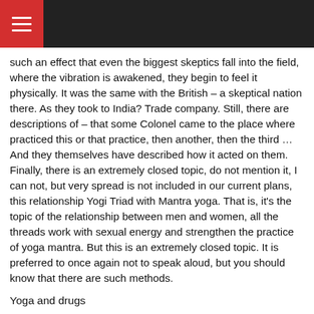≡ (hamburger menu on dark header bar)
such an effect that even the biggest skeptics fall into the field, where the vibration is awakened, they begin to feel it physically. It was the same with the British – a skeptical nation there. As they took to India? Trade company. Still, there are descriptions of – that some Colonel came to the place where practiced this or that practice, then another, then the third … And they themselves have described how it acted on them. Finally, there is an extremely closed topic, do not mention it, I can not, but very spread is not included in our current plans, this relationship Yogi Triad with Mantra yoga. That is, it's the topic of the relationship between men and women, all the threads work with sexual energy and strengthen the practice of yoga mantra. But this is an extremely closed topic. It is preferred to once again not to speak aloud, but you should know that there are such methods.
Yoga and drugs
Immediately counterarguments: that does not work and does not enhance the practice of mantra? All kinds of "dope" (drugs) result in a failure of the practice of mantra. Moreover, it is very insidious. Indeed, that someone had eaten, for example, any nonsense, and like to some extent it has narrowed consciousness to a certain theme, and like him there is